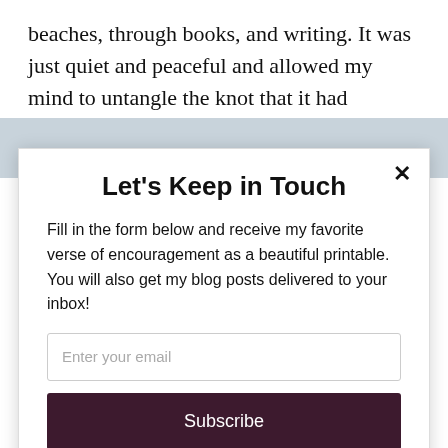beaches, through books, and writing. It was just quiet and peaceful and allowed my mind to untangle the knot that it had become.
Let's Keep in Touch
Fill in the form below and receive my favorite verse of encouragement as a beautiful printable. You will also get my blog posts delivered to your inbox!
Enter your email
Subscribe
powered by MailMunch